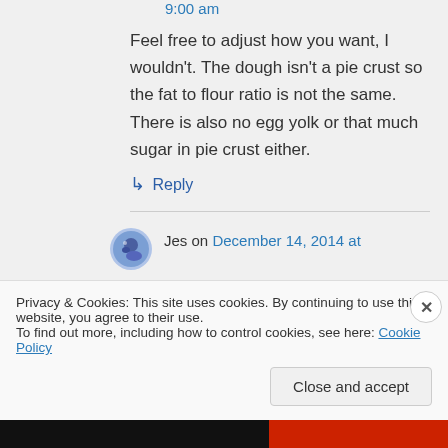9:00 am
Feel free to adjust how you want, I wouldn't. The dough isn't a pie crust so the fat to flour ratio is not the same. There is also no egg yolk or that much sugar in pie crust either.
↳ Reply
Jes on December 14, 2014 at
Privacy & Cookies: This site uses cookies. By continuing to use this website, you agree to their use.
To find out more, including how to control cookies, see here: Cookie Policy
Close and accept